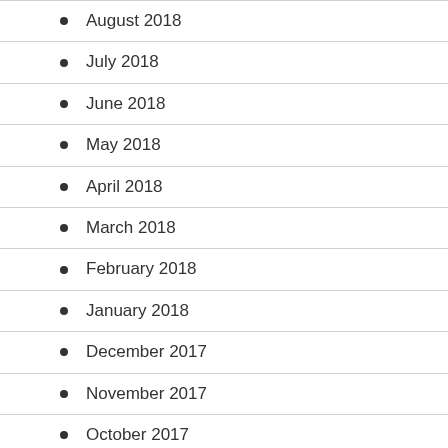August 2018
July 2018
June 2018
May 2018
April 2018
March 2018
February 2018
January 2018
December 2017
November 2017
October 2017
August 2017
July 2017
June 2017
May 2017